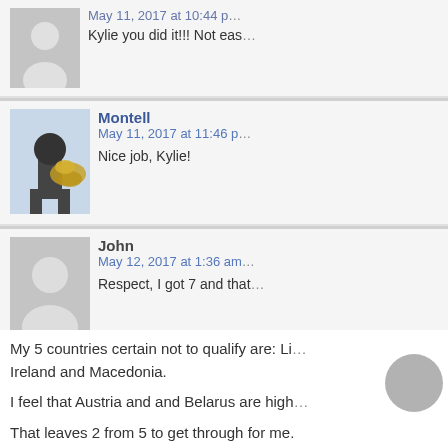[Figure (screenshot): Blog comment section showing multiple user comments. First comment: anonymous user, May 11 2017 at 10:44, 'Kylie you did it!!! Not eas...'. Second comment: Montell, May 11 2017 at 11:46, 'Nice job, Kylie!'. Third comment: John, May 12 2017 at 1:36am, 'Respect, I got 7 and that...'. Fourth comment: Stuart, May 11 2017 at 5:03pm, 'My 6 certainties to qualify are: Netherlands, Romania, Estonia...'. Bottom text paragraphs about Stuart's predictions for Eurovision qualifying countries.]